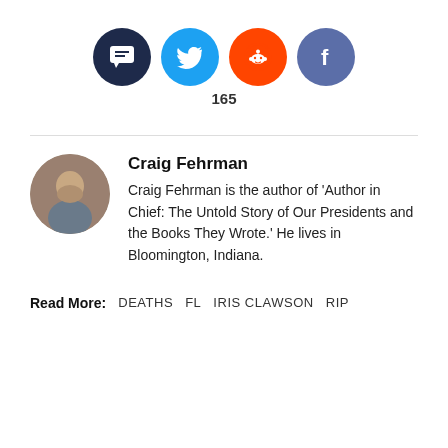[Figure (infographic): Four social sharing icon circles: comment (dark navy), Twitter (blue bird), Reddit (orange alien), Facebook (blue f). Below them is the number 165.]
165
Craig Fehrman
Craig Fehrman is the author of 'Author in Chief: The Untold Story of Our Presidents and the Books They Wrote.' He lives in Bloomington, Indiana.
Read More:   DEATHS   FL   IRIS CLAWSON   RIP